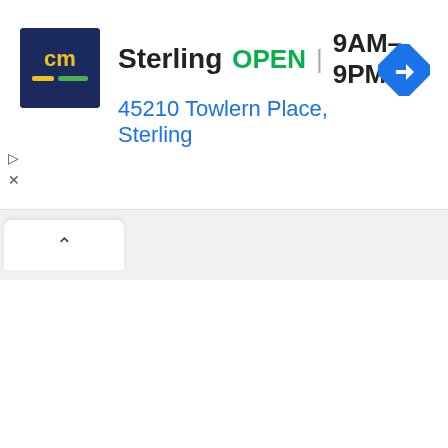[Figure (logo): cm logo — dark navy blue square with yellow 'cm' text and yellow/green dashes]
Sterling   OPEN | 9AM–9PM
45210 Towlern Place, Sterling
[Figure (other): Blue diamond-shaped navigation/directions button with white right-turn arrow]
▷
✕
^